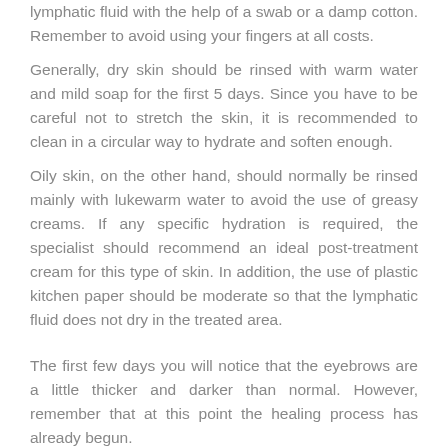lymphatic fluid with the help of a swab or a damp cotton. Remember to avoid using your fingers at all costs.
Generally, dry skin should be rinsed with warm water and mild soap for the first 5 days. Since you have to be careful not to stretch the skin, it is recommended to clean in a circular way to hydrate and soften enough.
Oily skin, on the other hand, should normally be rinsed mainly with lukewarm water to avoid the use of greasy creams. If any specific hydration is required, the specialist should recommend an ideal post-treatment cream for this type of skin. In addition, the use of plastic kitchen paper should be moderate so that the lymphatic fluid does not dry in the treated area.
The first few days you will notice that the eyebrows are a little thicker and darker than normal. However, remember that at this point the healing process has already begun.